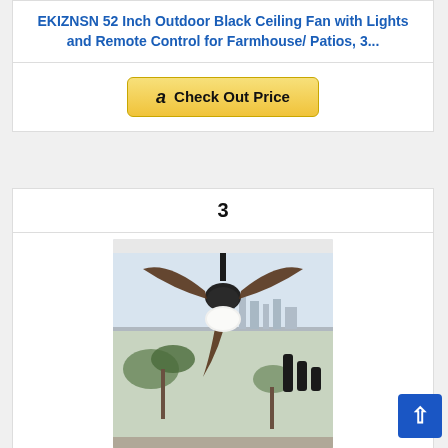EKIZNSN 52 Inch Outdoor Black Ceiling Fan with Lights and Remote Control for Farmhouse/ Patios, 3...
[Figure (other): Amazon 'Check Out Price' button with Amazon logo]
3
[Figure (photo): A black ceiling fan with three dark wood-tone blades and a white frosted light globe, shown mounted indoors near a large window with a tropical landscape and city skyline visible outside. Remote controls shown to the right.]